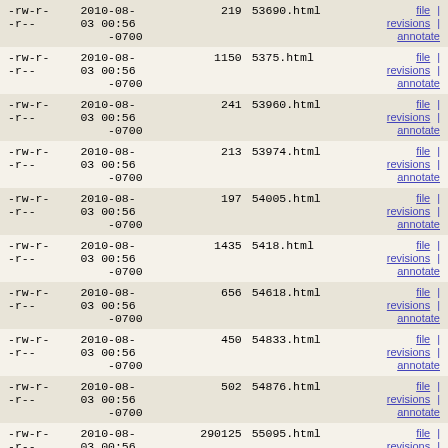| permissions | date | size | filename | links |
| --- | --- | --- | --- | --- |
| -rw-r--r-- | 2010-08-03 00:56 -0700 | 219 | 53690.html | file | revisions | annotate |
| -rw-r--r-- | 2010-08-03 00:56 -0700 | 1150 | 5375.html | file | revisions | annotate |
| -rw-r--r-- | 2010-08-03 00:56 -0700 | 241 | 53960.html | file | revisions | annotate |
| -rw-r--r-- | 2010-08-03 00:56 -0700 | 213 | 53974.html | file | revisions | annotate |
| -rw-r--r-- | 2010-08-03 00:56 -0700 | 197 | 54005.html | file | revisions | annotate |
| -rw-r--r-- | 2010-08-03 00:56 -0700 | 1435 | 5418.html | file | revisions | annotate |
| -rw-r--r-- | 2010-08-03 00:56 -0700 | 656 | 54618.html | file | revisions | annotate |
| -rw-r--r-- | 2010-08-03 00:56 -0700 | 450 | 54833.html | file | revisions | annotate |
| -rw-r--r-- | 2010-08-03 00:56 -0700 | 502 | 54876.html | file | revisions | annotate |
| -rw-r--r-- | 2010-08-03 00:56 -0700 | 290125 | 55095.html | file | revisions | annotate |